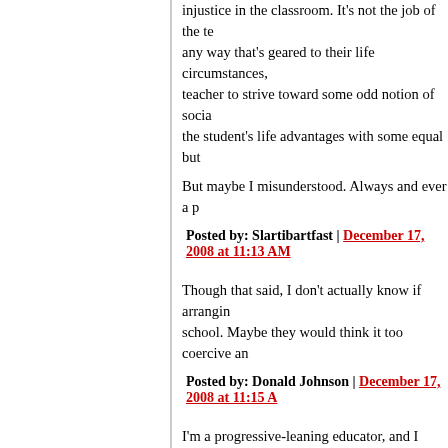injustice in the classroom. It's not the job of the teacher to… any way that's geared to their life circumstances,… teacher to strive toward some odd notion of social… the student's life advantages with some equal but…
But maybe I misunderstood. Always and ever a p…
Posted by: Slartibartfast | December 17, 2008 at 11:13 AM
Though that said, I don't actually know if arrangin… school. Maybe they would think it too coercive an…
Posted by: Donald Johnson | December 17, 2008 at 11:15 A…
I'm a progressive-leaning educator, and I immedia… a classroom technique, that could have led to this… environment, you immerse the students in the bas… then, as a teacher, you allow for and surf over a w… from the class, regarding how they're going to syn… tangible product. As a teacher with real-world adu… facilitate resources to make the projects come to… leader, but the ideas still belong to the students, a… meaningful.